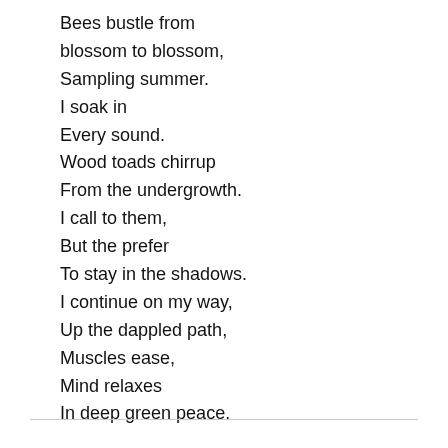Bees bustle from blossom to blossom,
Sampling summer.
I soak in
Every sound.
Wood toads chirrup
From the undergrowth.
I call to them,
But the prefer
To stay in the shadows.
I continue on my way,
Up the dappled path,
Muscles ease,
Mind relaxes
In deep green peace.